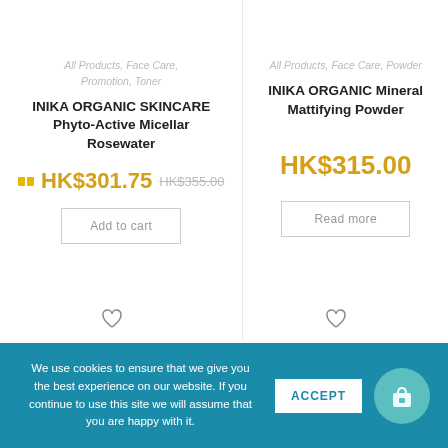All Products, Face Care, Promotion, Toner
INIKA ORGANIC SKINCARE Phyto-Active Micellar Rosewater
HK$301.75 HK$355.00
Add to cart
All Products, Face Care, Powder
INIKA ORGANIC Mineral Mattifying Powder
HK$315.00
Read more
We use cookies to ensure that we give you the best experience on our website. If you continue to use this site we will assume that you are happy with it.
ACCEPT